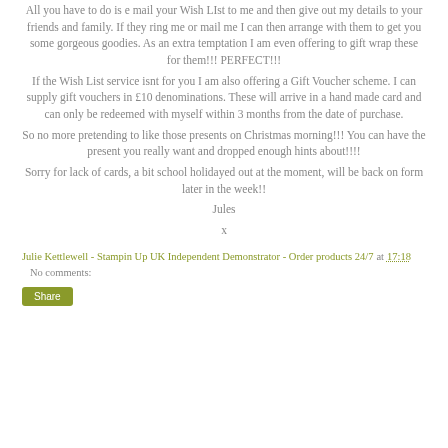All you have to do is e mail your Wish LIst to me and then give out my details to your friends and family. If they ring me or mail me I can then arrange with them to get you some gorgeous goodies. As an extra temptation I am even offering to gift wrap these for them!!! PERFECT!!!
If the Wish List service isnt for you I am also offering a Gift Voucher scheme. I can supply gift vouchers in £10 denominations. These will arrive in a hand made card and can only be redeemed with myself within 3 months from the date of purchase.
So no more pretending to like those presents on Christmas morning!!! You can have the present you really want and dropped enough hints about!!!!
Sorry for lack of cards, a bit school holidayed out at the moment, will be back on form later in the week!!
Jules
x
Julie Kettlewell - Stampin Up UK Independent Demonstrator - Order products 24/7 at 17:18    No comments: